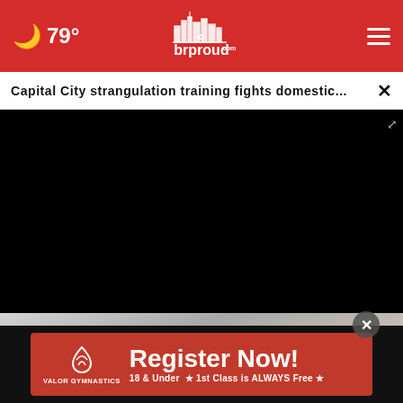79° brproud.com
Capital City strangulation training fights domestic...
[Figure (screenshot): Black video player area with progress bar at bottom]
[Figure (photo): Close-up of white sneakers/shoes on gray floor]
[Figure (infographic): Valor Gymnastics red advertisement banner: Register Now! 18 & Under ★ 1st Class is ALWAYS Free ★]